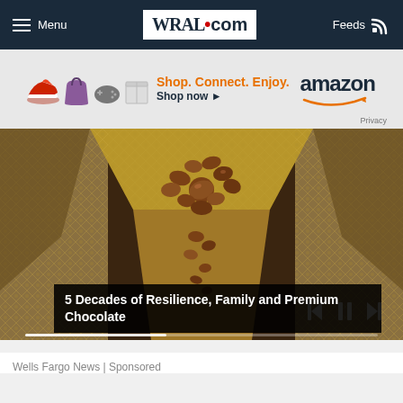Menu  WRAL.com  Feeds
[Figure (screenshot): Amazon advertisement banner: Shop. Connect. Enjoy. amazon Shop now with arrow. Privacy text. Product images including red shoes, purple bag, game controller, white box.]
[Figure (photo): Overhead view of cocoa beans falling through industrial metallic processing equipment with diamond-pattern texture]
5 Decades of Resilience, Family and Premium Chocolate
Wells Fargo News | Sponsored